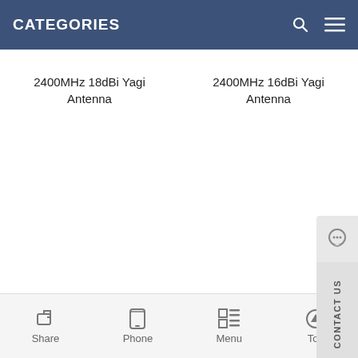CATEGORIES
2400MHz 18dBi Yagi Antenna
2400MHz 16dBi Yagi Antenna
2100MHz 15dBi Yagi Antenna G
Share  Phone  Menu  Top